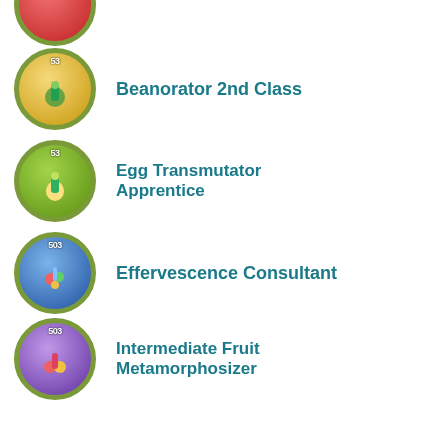[Figure (illustration): Partial red badge circle cropped at top of page]
Beanorator 2nd Class
Egg Transmutator Apprentice
Effervescence Consultant
Intermediate Fruit Metamorphosizer
Assistant Spice Manager
Bonafide Gas Wrangler
Beanorator 1st Class